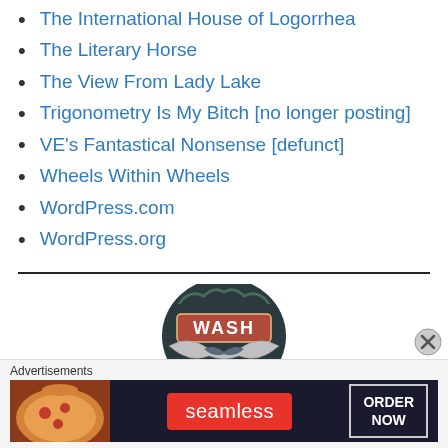The International House of Logorrhea
The Literary Horse
The View From Lady Lake
Trigonometry Is My Bitch [no longer posting]
VE's Fantastical Nonsense [defunct]
Wheels Within Wheels
WordPress.com
WordPress.org
[Figure (logo): WASH circular logo with dark background and stylized bird/bat imagery]
Advertisements
[Figure (screenshot): Seamless food delivery advertisement banner with pizza image, red Seamless logo, and ORDER NOW button]